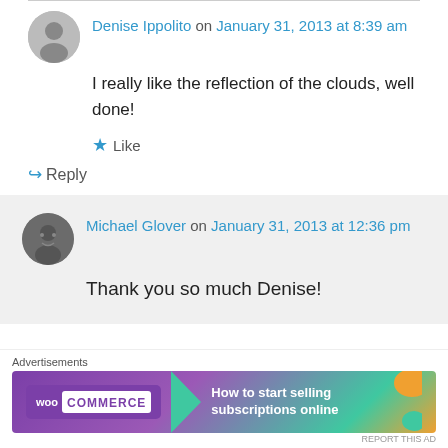Denise Ippolito on January 31, 2013 at 8:39 am
I really like the reflection of the clouds, well done!
★ Like
↪ Reply
Michael Glover on January 31, 2013 at 12:36 pm
Thank you so much Denise!
Advertisements
[Figure (other): WooCommerce advertisement banner: 'How to start selling subscriptions online']